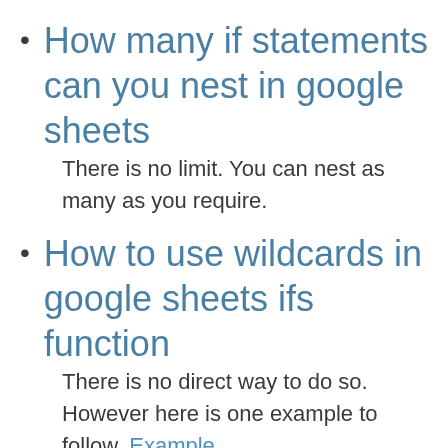How many if statements can you nest in google sheets
There is no limit. You can nest as many as you require.
How to use wildcards in google sheets ifs function
There is no direct way to do so. However here is one example to follow. Example...